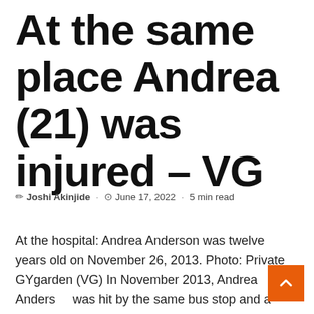At the same place Andrea (21) was injured – VG
✏ Joshi Akinjide · 🕐 June 17, 2022 · 5 min read
At the hospital: Andrea Anderson was twelve years old on November 26, 2013. Photo: Private GYgarden (VG) In November 2013, Andrea Anderson was hit by the same bus stop and a twelve-year-old boy died in a traffic accident on Tuesday this week.